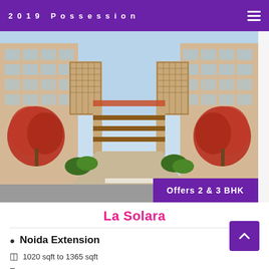2019 Possession
[Figure (photo): Architectural rendering of La Solara residential apartment complex entrance with tall buildings, red flowering trees, ornate gated entrance and landscaping. Purple badge overlay reads 'Offers 2 & 3 BHK']
La Solara
Noida Extension
1020 sqft to 1365 sqft
Starting Rent 11,000/-